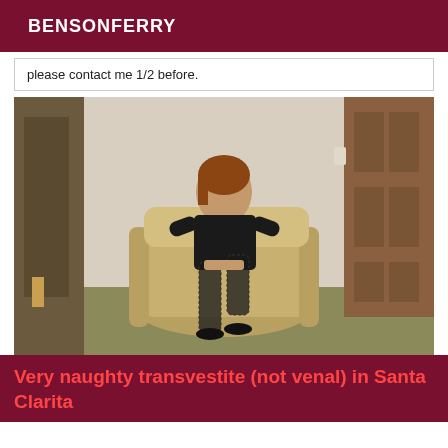BENSONFERRY
please contact me 1/2 before.
[Figure (photo): Person seated in an armchair in a hotel room, wearing black clothing and lace stockings, with wooden doors visible in the background.]
Very naughty transvestite (not venal) in Santa Clarita